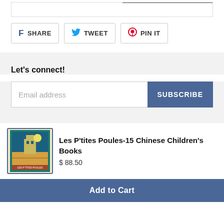[Figure (screenshot): Social share buttons: Facebook SHARE, Twitter TWEET, Pinterest PIN IT]
Let's connect!
Email address subscription form with SUBSCRIBE button
[Figure (photo): Book cover thumbnail for Les P'tites Poules-15 Chinese Children's Books]
Les P'tites Poules-15 Chinese Children's Books
$ 88.50
Add to Cart